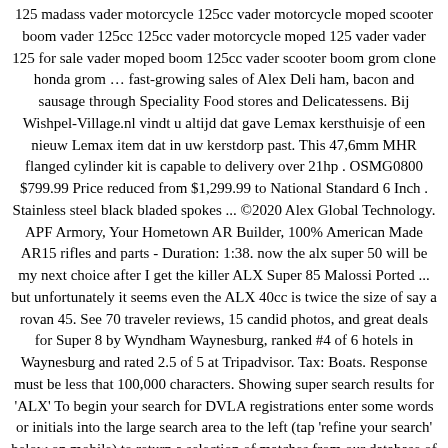125 madass vader motorcycle 125cc vader motorcycle moped scooter boom vader 125cc 125cc vader motorcycle moped 125 vader vader 125 for sale vader moped boom 125cc vader scooter boom grom clone honda grom … fast-growing sales of Alex Deli ham, bacon and sausage through Speciality Food stores and Delicatessens. Bij Wishpel-Village.nl vindt u altijd dat gave Lemax kersthuisje of een nieuw Lemax item dat in uw kerstdorp past. This 47,6mm MHR flanged cylinder kit is capable to delivery over 21hp . OSMG0800 $799.99 Price reduced from $1,299.99 to National Standard 6 Inch . Stainless steel black bladed spokes ... ©2020 Alex Global Technology. APF Armory, Your Hometown AR Builder, 100% American Made AR15 rifles and parts - Duration: 1:38. now the alx super 50 will be my next choice after I get the killer ALX Super 85 Malossi Ported ... but unfortunately it seems even the ALX 40cc is twice the size of say a rovan 45. See 70 traveler reviews, 15 candid photos, and great deals for Super 8 by Wyndham Waynesburg, ranked #4 of 6 hotels in Waynesburg and rated 2.5 of 5 at Tripadvisor. Tax: Boats. Response must be less that 100,000 characters. Showing super search results for 'ALX' To begin your search for DVLA registrations enter some words or initials into the large search area to the left (tap 'refine your search' below on mobile) to return a selection of matches from our database of millions.. Prime members enjoy FREE Delivery and exclusive access to music, movies, TV shows, original audio series, and Kindle books. We'll call you and connect you to a